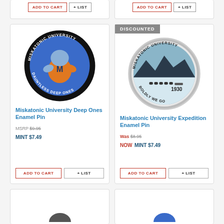[Figure (photo): Top partial product card left - buttons ADD TO CART and + LIST]
[Figure (photo): Top partial product card right - buttons ADD TO CART and + LIST]
[Figure (photo): Miskatonic University Deep Ones Enamel Pin - round blue enamel pin with cartoon creature mascot, text MISKATONIC UNIVERSITY DAUNTLESS DEEP ONES]
Miskatonic University Deep Ones Enamel Pin
MSRP $9.95 MINT $7.49
[Figure (photo): Miskatonic University Expedition Enamel Pin - round silver/grey enamel pin with sled dogs scene, text MISKATONIC UNIVERSITY BOLDLY WE GO, 1930]
Miskatonic University Expedition Enamel Pin
Was $8.95 NOW MINT $7.49
[Figure (photo): Bottom partial product card left - partially visible]
[Figure (photo): Bottom partial product card right - partially visible]